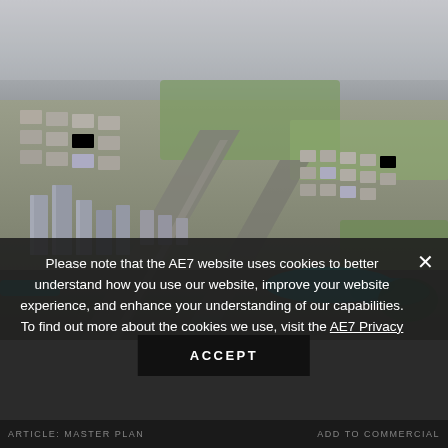[Figure (photo): Aerial bird's-eye view rendering of a large urban master plan development, showing high-rise towers, residential blocks, green parks, waterways with turquoise water, and highway infrastructure. Muted grey-green palette with some cyan water features visible.]
Please note that the AE7 website uses cookies to better understand how you use our website, improve your website experience, and enhance your understanding of our capabilities. To find out more about the cookies we use, visit the AE7 Privacy Policy.
ACCEPT
ARTICLE: MASTER PLAN  •  ADD TO COMMERCIAL